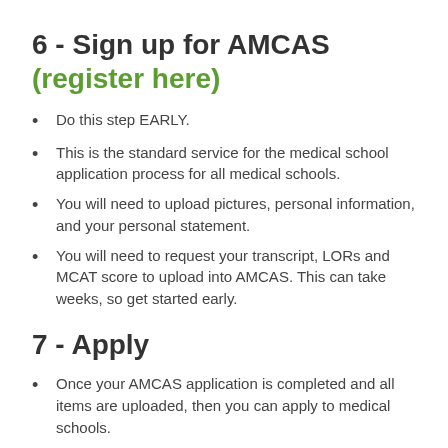6 - Sign up for AMCAS (register here)
Do this step EARLY.
This is the standard service for the medical school application process for all medical schools.
You will need to upload pictures, personal information, and your personal statement.
You will need to request your transcript, LORs and MCAT score to upload into AMCAS. This can take weeks, so get started early.
7 - Apply
Once your AMCAS application is completed and all items are uploaded, then you can apply to medical schools.
8 - Secondary Applications